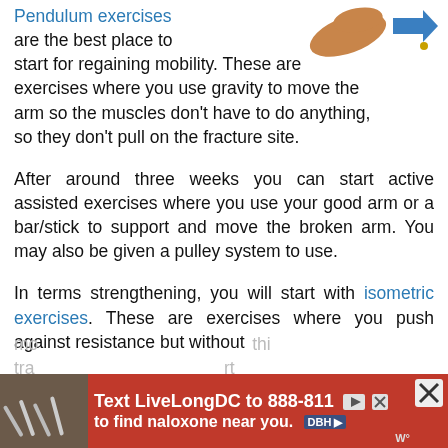Pendulum exercises are the best place to start for regaining mobility. These are exercises where you use gravity to move the arm so the muscles don't have to do anything, so they don't pull on the fracture site.

After around three weeks you can start active assisted exercises where you use your good arm or a bar/stick to support and move the broken arm. You may also be given a pulley system to use.

In terms strengthening, you will start with isometric exercises. These are exercises where you push against resistance but without mo... tra...
[Figure (illustration): Illustration of a shoulder/arm exercise figure with an orange/tan color, and a blue arrow pointing right, partially visible at top right of the page]
[Figure (infographic): Advertisement banner: red background with text 'Text LiveLongDC to 888-811 to find naloxone near you.' with DBH logo, close/mute icons, and a small photo of syringes on left]